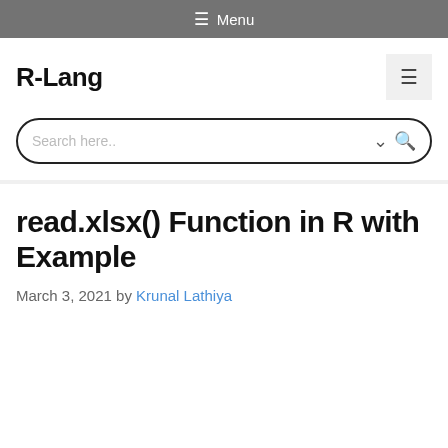☰ Menu
R-Lang
Search here..
read.xlsx() Function in R with Example
March 3, 2021 by Krunal Lathiya